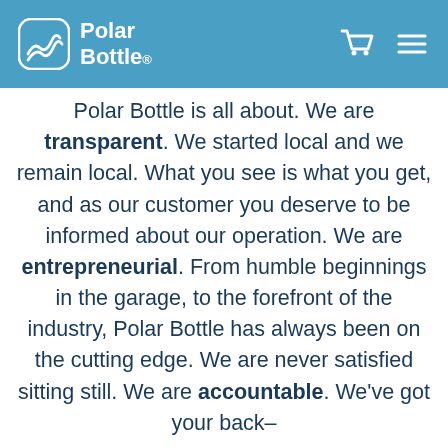Polar Bottle
Polar Bottle is all about. We are transparent. We started local and we remain local. What you see is what you get, and as our customer you deserve to be informed about our operation. We are entrepreneurial. From humble beginnings in the garage, to the forefront of the industry, Polar Bottle has always been on the cutting edge. We are never satisfied sitting still. We are accountable. We've got your back–